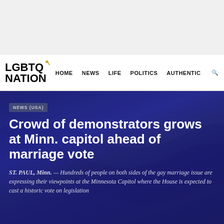[Figure (screenshot): Gray top banner area of the LGBTQ Nation website]
LGBTQ NATION  HOME  NEWS  LIFE  POLITICS  AUTHENTIC
NEWS (USA)
Crowd of demonstrators grows at Minn. capitol ahead of marriage vote
ST. PAUL, Minn. — Hundreds of people on both sides of the gay marriage issue are expressing their viewpoints at the Minnesota Capitol where the House is expected to cast a historic vote on legislation